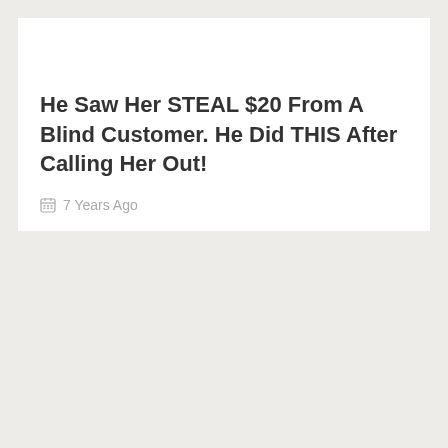He Saw Her STEAL $20 From A Blind Customer. He Did THIS After Calling Her Out!
7 Years Ago